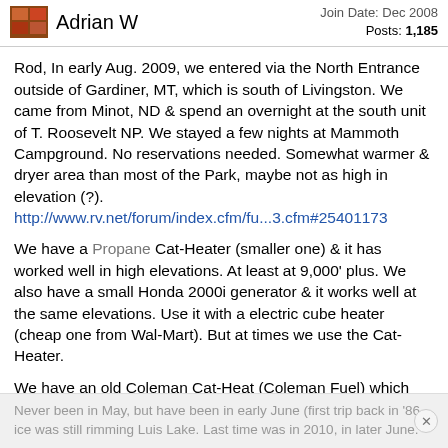Adrian W  |  Join Date: Dec 2008  Posts: 1,185
Rod, In early Aug. 2009, we entered via the North Entrance outside of Gardiner, MT, which is south of Livingston. We came from Minot, ND & spend an overnight at the south unit of T. Roosevelt NP. We stayed a few nights at Mammoth Campground. No reservations needed. Somewhat warmer & dryer area than most of the Park, maybe not as high in elevation (?). http://www.rv.net/forum/index.cfm/fu...3.cfm#25401173
We have a Propane Cat-Heater (smaller one) & it has worked well in high elevations. At least at 9,000' plus. We also have a small Honda 2000i generator & it works well at the same elevations. Use it with a electric cube heater (cheap one from Wal-Mart). But at times we use the Cat-Heater.
We have an old Coleman Cat-Heat (Coleman Fuel) which shouldn't have any problem at higher elevations. Some smell from it at times...mainly when cutting it off.
Never been in May, but have been in early June (first trip back in '86 ice was still rimming Luis Lake. Last time was in 2010, in later June.